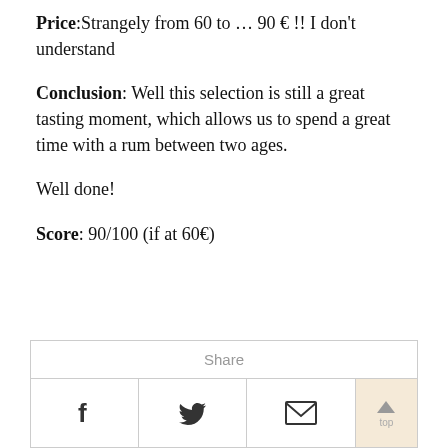Price:Strangely from 60 to … 90 € !! I don't understand
Conclusion: Well this selection is still a great tasting moment, which allows us to spend a great time with a rum between two ages.
Well done!
Score: 90/100 (if at 60€)
[Figure (other): Share bar with Facebook, Twitter, Email icons and a scroll-to-top button]